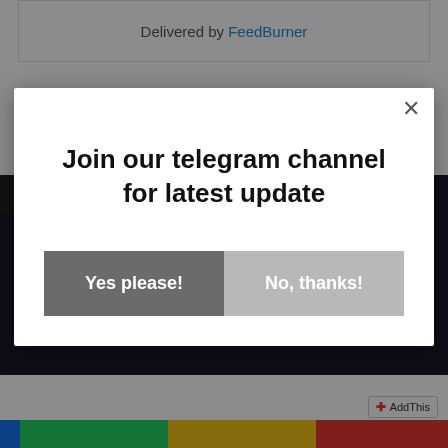Delivered by FeedBurner
TRENDING POSTS
Indian Travellers Planning To Visit These
[Figure (screenshot): Modal dialog popup with close button (×), title text 'Join our telegram channel for latest update', and two buttons: 'Yes please!' (dark grey) and 'No, thanks!' (light grey)]
AddThis